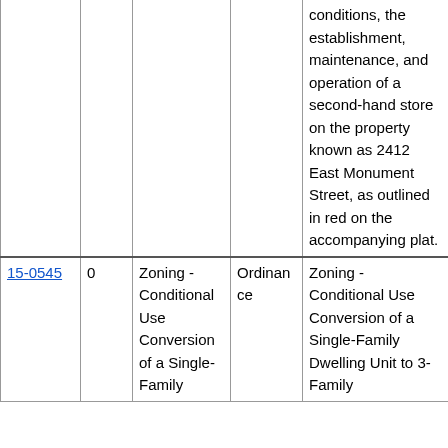|  |  |  |  |  |
| --- | --- | --- | --- | --- |
|  |  |  |  | conditions, the establishment, maintenance, and operation of a second-hand store on the property known as 2412 East Monument Street, as outlined in red on the accompanying plat. |
| 15-0545 | 0 | Zoning - Conditional Use Conversion of a Single-Family | Ordinance | Zoning - Conditional Use Conversion of a Single-Family Dwelling Unit to 3-Family |